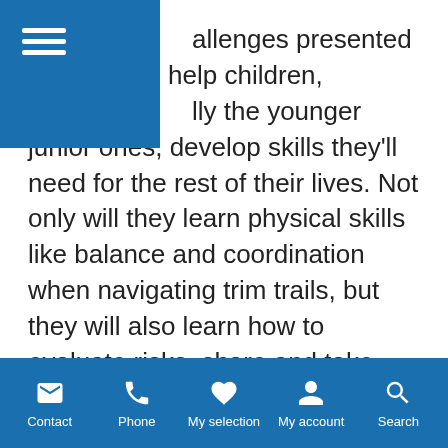allenges presented in trim trails help children, lly the younger junior ones, develop skills they'll need for the rest of their lives. Not only will they learn physical skills like balance and coordination when navigating trim trails, but they will also learn how to evaluate risks, share and take turns, and develop resilience.
Proludic has a wide collection of innovative trim trail products that are either constructed out of metal or wood. Equipment is available in two heights for creating junior and adult fitness trails. Warm up, stretching and muscle
Contact | Phone | My selection | My account | Search